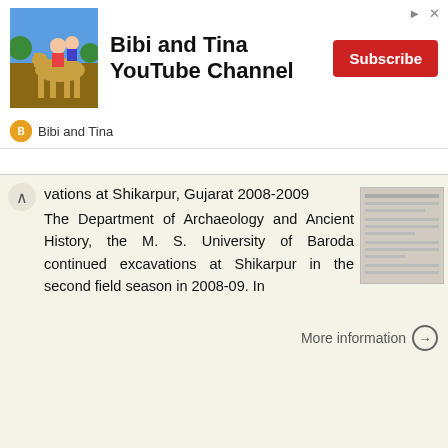[Figure (screenshot): Ad banner for Bibi and Tina YouTube Channel with Subscribe button]
vations at Shikarpur, Gujarat 2008-2009
The Department of Archaeology and Ancient History, the M. S. University of Baroda continued excavations at Shikarpur in the second field season in 2008-09. In
More information →
STONE implements and pottery indicative of Late Neolithic settlement are known to
Late Neolithic Site in the Extreme Northwest of the New Territories, Hong Kong Received 29 July 1966 T. N. CHIU* AND M. K. WOO** THE SITE STONE implements and pottery indicative of Late Neolithic settlement